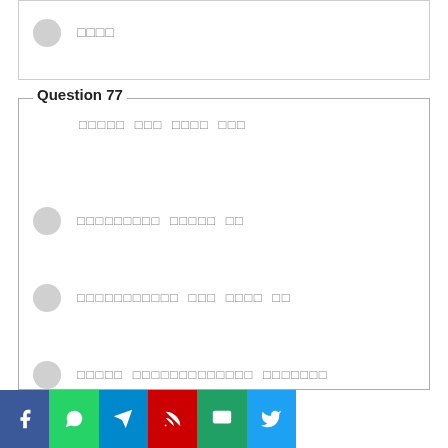□□□□
Question 77
□□□□□ □□□ □□□□ □□□
□□□□□□□□□ □□□□□ □□
□□□□□□□□□□□ □□□ □□□□ □□
□□□□□ □□□□□□□□□□□□□ □□□□□□□
□□□□□□□□ □□□